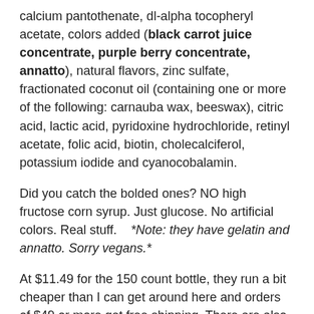calcium pantothenate, dl-alpha tocopheryl acetate, colors added (black carrot juice concentrate, purple berry concentrate, annatto), natural flavors, zinc sulfate, fractionated coconut oil (containing one or more of the following: carnauba wax, beeswax), citric acid, lactic acid, pyridoxine hydrochloride, retinyl acetate, folic acid, biotin, cholecalciferol, potassium iodide and cyanocobalamin.
Did you catch the bolded ones? NO high fructose corn syrup. Just glucose. No artificial colors. Real stuff.    *Note: they have gelatin and annatto. Sorry vegans.*
At $11.49 for the 150 count bottle, they run a bit cheaper than I can get around here and orders of $49 or more get free shipping. There are also nearly always some coupon codes floating around the net for a discount. The Muti-Vitamin Gummies For Kids are also free of several common allergens: Milk, eggs, peanuts, shellfish, and fish. They do contain corn starch though.